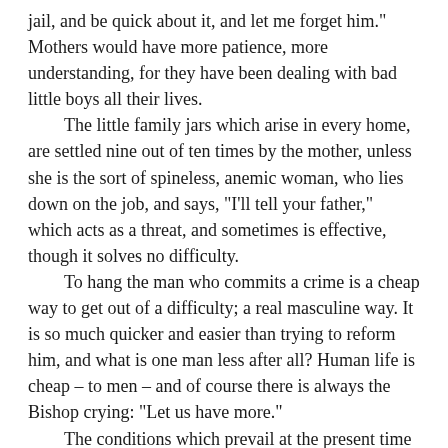jail, and be quick about it, and let me forget him." Mothers would have more patience, more understanding, for they have been dealing with bad little boys all their lives.

The little family jars which arise in every home, are settled nine out of ten times by the mother, unless she is the sort of spineless, anemic woman, who lies down on the job, and says, "I'll tell your father," which acts as a threat, and sometimes is effective, though it solves no difficulty.

To hang the man who commits a crime is a cheap way to get out of a difficulty; a real masculine way. It is so much quicker and easier than trying to reform him, and what is one man less after all? Human life is cheap – to men – and of course there is always the Bishop crying: "Let us have more."

The conditions which prevail at the present time are atrocious and help to make criminals. The worst crimes have not even a name yet, much less a punishment. What about the crime of working little children and cheating them out of an education and a happy childhood? There is no name for it! What about misrepresenting land values and selling lots to people who have